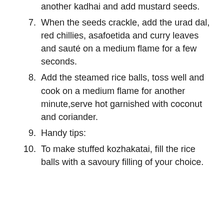another kadhai and add mustard seeds.
7. When the seeds crackle, add the urad dal, red chillies, asafoetida and curry leaves and sauté on a medium flame for a few seconds.
8. Add the steamed rice balls, toss well and cook on a medium flame for another minute,serve hot garnished with coconut and coriander.
9. Handy tips:
10. To make stuffed kozhakatai, fill the rice balls with a savoury filling of your choice.